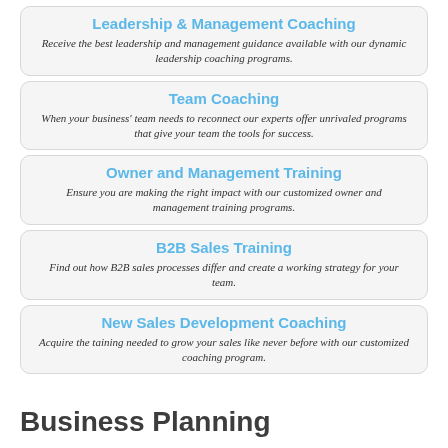Leadership & Management Coaching
Receive the best leadership and management guidance available with our dynamic leadership coaching programs.
Team Coaching
When your business' team needs to reconnect our experts offer unrivaled programs that give your team the tools for success.
Owner and Management Training
Ensure you are making the right impact with our customized owner and management training programs.
B2B Sales Training
Find out how B2B sales processes differ and create a working strategy for your team.
New Sales Development Coaching
Acquire the taining needed to grow your sales like never before with our customized coaching program.
Business Planning